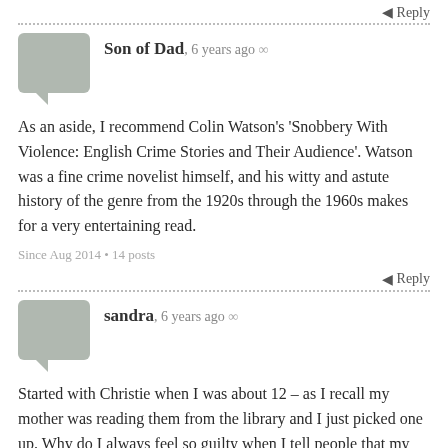Reply
Son of Dad, 6 years ago ∞
As an aside, I recommend Colin Watson's 'Snobbery With Violence: English Crime Stories and Their Audience'. Watson was a fine crime novelist himself, and his witty and astute history of the genre from the 1920s through the 1960s makes for a very entertaining read.
Since Aug 2014 • 14 posts
Reply
sandra, 6 years ago ∞
Started with Christie when I was about 12 – as I recall my mother was reading them from the library and I just picked one up. Why do I always feel so guilty when I tell people that my main reading is crime fiction/thrillers?